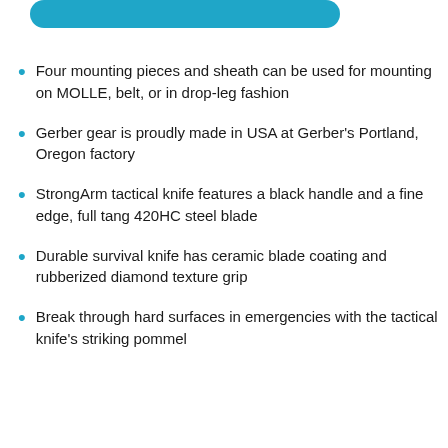[Figure (other): Teal/cyan rounded rectangle bar at top of page]
Four mounting pieces and sheath can be used for mounting on MOLLE, belt, or in drop-leg fashion
Gerber gear is proudly made in USA at Gerber's Portland, Oregon factory
StrongArm tactical knife features a black handle and a fine edge, full tang 420HC steel blade
Durable survival knife has ceramic blade coating and rubberized diamond texture grip
Break through hard surfaces in emergencies with the tactical knife's striking pommel